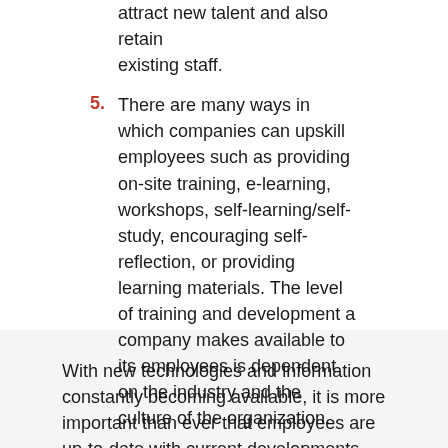attract new talent and also retain existing staff.
5. There are many ways in which companies can upskill employees such as providing on-site training, e-learning, workshops, self-learning/self-study, encouraging self-reflection, or providing learning materials. The level of training and development a company makes available to its employees is dependent on the industry and the culture of the organization.
With new technologies and information constantly becoming available, it is more important than ever that employees are up-to-date with current developments.